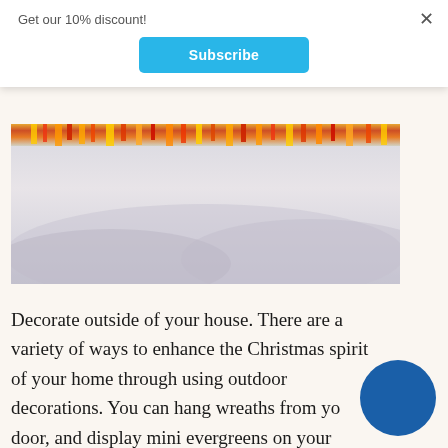Get our 10% discount!
Subscribe
[Figure (photo): Blurred outdoor Christmas decorations with warm orange and red tones at the top and a foggy misty background below]
Decorate outside of your house. There are a variety of ways to enhance the Christmas spirit of your home through using outdoor decorations. You can hang wreaths from your door, and display mini evergreens on your porch or front doorstep. If you have a lawn